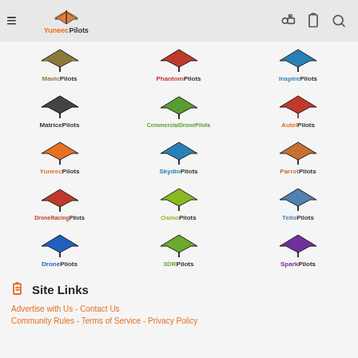YuneecPilots
[Figure (logo): Grid of 15 drone community logos: MavicPilots, PhantomPilots, InspirePilots, MatricePilots, CommercialDronePilots, AutelPilots, YuneecPilots, SkydioPilots, ParrotPilots, DroneRacingPilots, OsmoPilots, TelloPilots, DronePilots, 3DRPilots, SparkPilots]
Site Links
Advertise with Us - Contact Us
Community Rules - Terms of Service - Privacy Policy